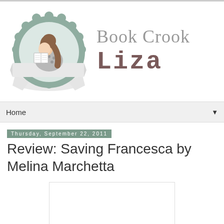[Figure (logo): Book Crook Liza blog logo: circular scalloped badge with illustrated girl reading a book, with cursive 'Book Crook' and block-lettered 'Liza' text]
Home
Thursday, September 22, 2011
Review: Saving Francesca by Melina Marchetta
[Figure (photo): Book cover image placeholder (white rectangle with border)]